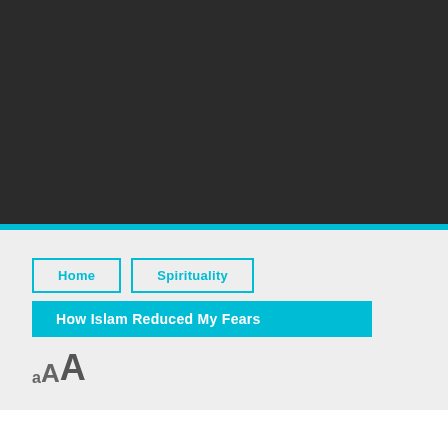[Figure (screenshot): Dark gray/black background header section occupying the top half of the page]
Home | Spirituality | How Islam Reduced My Fears
AAA